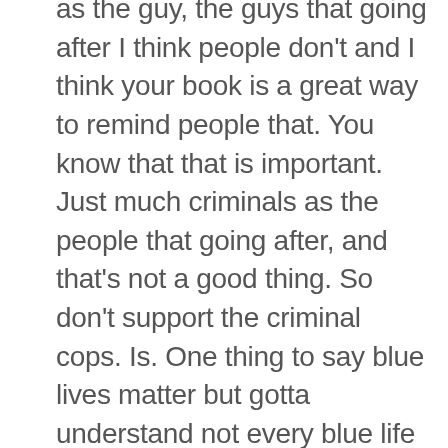as the guy, the guys that going after I think people don't and I think your book is a great way to remind people that. You know that that is important. Just much criminals as the people that going after, and that's not a good thing. So don't support the criminal cops. Is. One thing to say blue lives matter but gotta understand not every blue life man as much as you know, most of them are good cops out there. But there are ones that are just you know as corrupt as can be my and I bring this up all my chief of police in my. He went he went to jail for Beata my county. He went to jail for beating up a guy who found sex toys and stuff in his in his gym bag in his locker that end of black book that implicated him as a serial murderer, and then the entire police